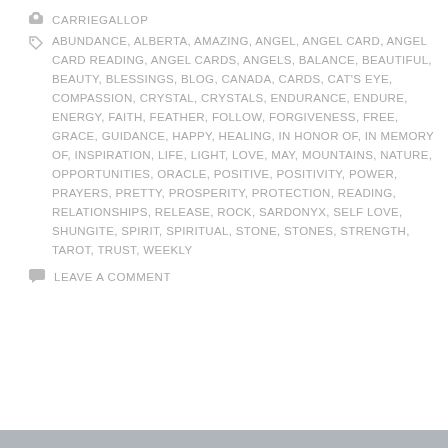CARRIEGALLOP
ABUNDANCE, ALBERTA, AMAZING, ANGEL, ANGEL CARD, ANGEL CARD READING, ANGEL CARDS, ANGELS, BALANCE, BEAUTIFUL, BEAUTY, BLESSINGS, BLOG, CANADA, CARDS, CAT'S EYE, COMPASSION, CRYSTAL, CRYSTALS, ENDURANCE, ENDURE, ENERGY, FAITH, FEATHER, FOLLOW, FORGIVENESS, FREE, GRACE, GUIDANCE, HAPPY, HEALING, IN HONOR OF, IN MEMORY OF, INSPIRATION, LIFE, LIGHT, LOVE, MAY, MOUNTAINS, NATURE, OPPORTUNITIES, ORACLE, POSITIVE, POSITIVITY, POWER, PRAYERS, PRETTY, PROSPERITY, PROTECTION, READING, RELATIONSHIPS, RELEASE, ROCK, SARDONYX, SELF LOVE, SHUNGITE, SPIRIT, SPIRITUAL, STONE, STONES, STRENGTH, TAROT, TRUST, WEEKLY
LEAVE A COMMENT